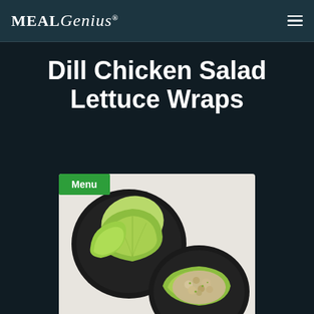MealGenius
Dill Chicken Salad Lettuce Wraps
[Figure (photo): Overhead view of two black plates with butter lettuce cups, one plain and one filled with dill chicken salad, on a white background. A green 'Menu' badge overlays the top-left corner of the photo.]